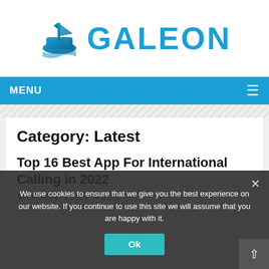[Figure (logo): Galeon logo: ship icon in teal/blue gradient with text GALEON in large teal bold letters]
MENU ≡
Category: Latest
Top 16 Best App For International Calling in 2022
December 3, 2020 · Latest
We use cookies to ensure that we give you the best experience on our website. If you continue to use this site we will assume that you are happy with it.